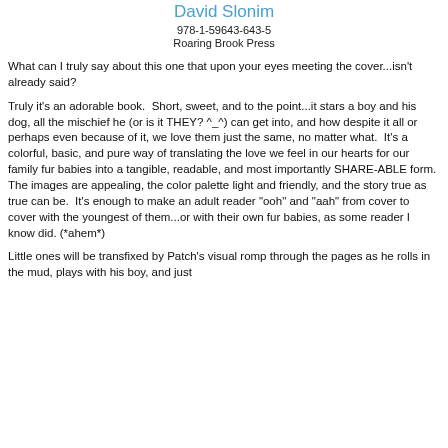David Slonim
978-1-59643-643-5
Roaring Brook Press
What can I truly say about this one that upon your eyes meeting the cover...isn't already said?
Truly it's an adorable book.  Short, sweet, and to the point...it stars a boy and his dog, all the mischief he (or is it THEY? ^_^) can get into, and how despite it all or perhaps even because of it, we love them just the same, no matter what.  It's a colorful, basic, and pure way of translating the love we feel in our hearts for our family fur babies into a tangible, readable, and most importantly SHARE-ABLE form.  The images are appealing, the color palette light and friendly, and the story true as true can be.  It's enough to make an adult reader "ooh" and "aah" from cover to cover with the youngest of them...or with their own fur babies, as some reader I know did. (*ahem*)
Little ones will be transfixed by Patch's visual romp through the pages as he rolls in the mud, plays with his boy, and just